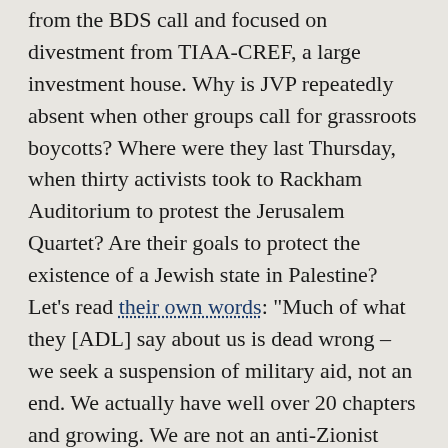from the BDS call and focused on divestment from TIAA-CREF, a large investment house. Why is JVP repeatedly absent when other groups call for grassroots boycotts? Where were they last Thursday, when thirty activists took to Rackham Auditorium to protest the Jerusalem Quartet? Are their goals to protect the existence of a Jewish state in Palestine? Let's read their own words: "Much of what they [ADL] say about us is dead wrong – we seek a suspension of military aid, not an end. We actually have well over 20 chapters and growing. We are not an anti-Zionist organization nor are we anti-Israel â€¦"
And consider efforts of well established, Jewish peace activists like Mark Braverman, who, instead of holding his own Jewish community accountable for the crimes of the Jewish state, he writes books and lectures folks on *Christian* Zionism. Is that getting the cart before